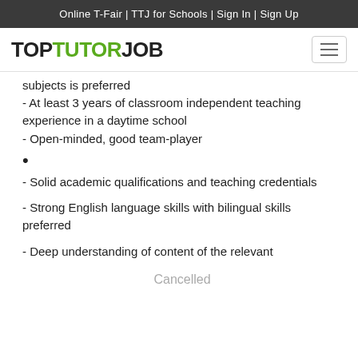Online T-Fair | TTJ for Schools | Sign In | Sign Up
[Figure (logo): TopTutorJob logo with TOP in black, TUTOR in green, JOB in black, large bold text]
subjects is preferred
- At least 3 years of classroom independent teaching experience in a daytime school
- Open-minded, good team-player
•
- Solid academic qualifications and teaching credentials
- Strong English language skills with bilingual skills preferred
- Deep understanding of content of the relevant
Cancelled